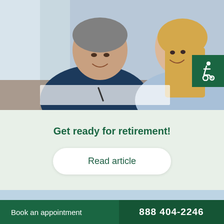[Figure (photo): A smiling middle-aged couple sitting together, reviewing documents. The man wears a dark blue shirt, the woman wears a light blue top. They appear to be signing or reading paperwork.]
Get ready for retirement!
Read article
[Figure (logo): A green triangular logo mark with lighter green left side, forming an 'A' shape, on a light blue background.]
Book an appointment    888 404-2246